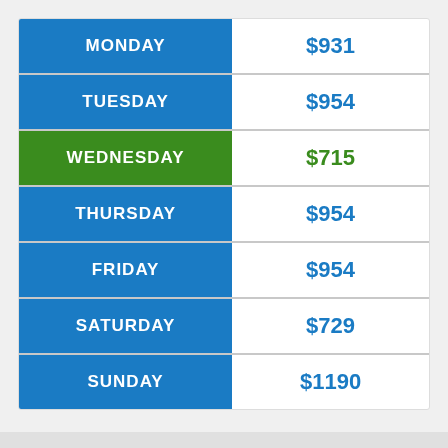| Day | Price |
| --- | --- |
| MONDAY | $931 |
| TUESDAY | $954 |
| WEDNESDAY | $715 |
| THURSDAY | $954 |
| FRIDAY | $954 |
| SATURDAY | $729 |
| SUNDAY | $1190 |
Compare Flight Prices from